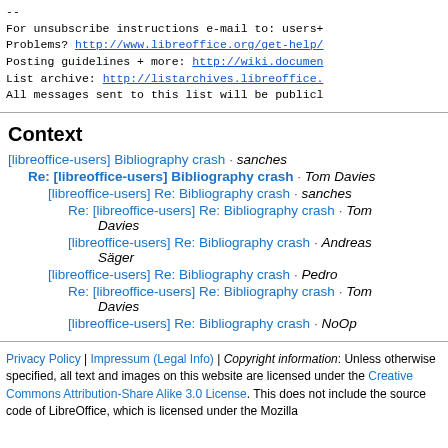--
For unsubscribe instructions e-mail to: users+
Problems? http://www.libreoffice.org/get-help/
Posting guidelines + more: http://wiki.documen
List archive: http://listarchives.libreoffice.
All messages sent to this list will be publicl
Context
[libreoffice-users] Bibliography crash · sanches
Re: [libreoffice-users] Bibliography crash · Tom Davies
[libreoffice-users] Re: Bibliography crash · sanches
Re: [libreoffice-users] Re: Bibliography crash · Tom Davies
[libreoffice-users] Re: Bibliography crash · Andreas Säger
[libreoffice-users] Re: Bibliography crash · Pedro
Re: [libreoffice-users] Re: Bibliography crash · Tom Davies
[libreoffice-users] Re: Bibliography crash · NoOp
Privacy Policy | Impressum (Legal Info) | Copyright information: Unless otherwise specified, all text and images on this website are licensed under the Creative Commons Attribution-Share Alike 3.0 License. This does not include the source code of LibreOffice, which is licensed under the Mozilla